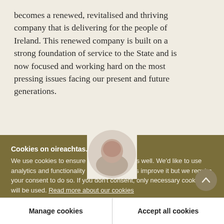becomes a renewed, revitalised and thriving company that is delivering for the people of Ireland. This renewed company is built on a strong foundation of service to the State and is now focused and working hard on the most pressing issues facing our present and future generations.
[Figure (photo): Circular avatar/portrait of a person, partially visible, with beige/tan circular background]
Cookies on oireachtas.ie
We use cookies to ensure our website works well. We'd like to use analytics and functionality cookies to help us improve it but we require your consent to do so. If you don't consent, only necessary cookies will be used. Read more about our cookies
Manage cookies
Accept all cookies